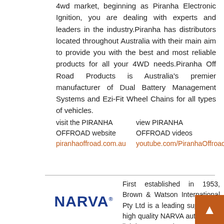4wd market, beginning as Piranha Electronic Ignition, you are dealing with experts and leaders in the industry.Piranha has distributors located throughout Australia with their main aim to provide you with the best and most reliable products for all your 4WD needs.Piranha Off Road Products is Australia's premier manufacturer of Dual Battery Management Systems and Ezi-Fit Wheel Chains for all types of vehicles.
visit the PIRANHA OFFROAD website
piranhaoffroad.com.au
view PIRANHA OFFROAD videos
youtube.com/PiranhaOffroad
[Figure (logo): NARVA logo in bold dark blue text with registered trademark symbol]
First established in 1953, Brown & Watson International Pty Ltd is a leading supplier of high quality NARVA automotive lighting and electrical accessories to the